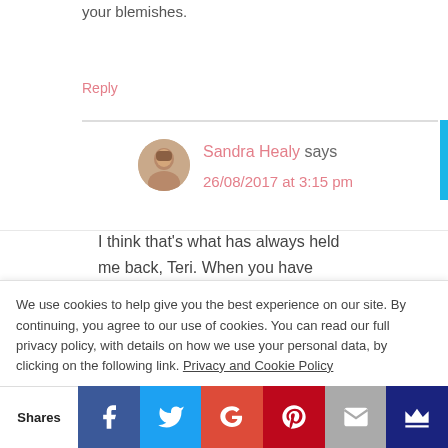your blemishes.
Reply
Sandra Healy says
26/08/2017 at 3:15 pm
I think that's what has always held me back, Teri. When you have
We use cookies to help give you the best experience on our site. By continuing, you agree to our use of cookies. You can read our full privacy policy, with details on how we use your personal data, by clicking on the following link. Privacy and Cookie Policy
Shares